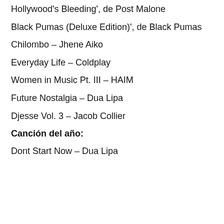Hollywood's Bleeding', de Post Malone
Black Pumas (Deluxe Edition)', de Black Pumas
Chilombo – Jhene Aiko
Everyday Life – Coldplay
Women in Music Pt. III – HAIM
Future Nostalgia – Dua Lipa
Djesse Vol. 3 – Jacob Collier
Canción del año:
Dont Start Now – Dua Lipa